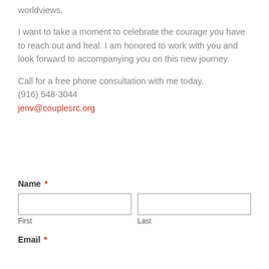worldviews.
I want to take a moment to celebrate the courage you have to reach out and heal. I am honored to work with you and look forward to accompanying you on this new journey.
Call for a free phone consultation with me today. (916) 548-3044
jenv@couplesrc.org
Name *
First
Last
Email *